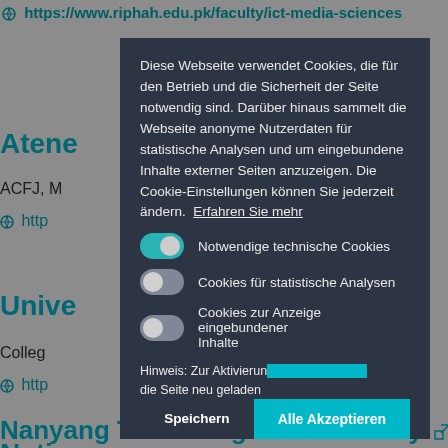https://www.riphah.edu.pk/faculty/ict-media-sciences
Atene
ACFJ, N
http
Unive
Colleg
http
Natio
Comm
http
[Figure (screenshot): Cookie consent modal dialog on a dark overlay. The dialog has a dark navy background (#2d3443) and contains German text explaining cookie usage. Three toggle switches are shown: 'Notwendige technische Cookies' (enabled, teal), 'Cookies für statistische Analysen' (disabled, gray), 'Cookies zur Anzeige eingebundener Inhalte' (disabled, gray). A partial notice text is visible at the bottom along with two buttons: 'Speichern' and 'Alle Akzeptieren' (teal).]
Diese Webseite verwendet Cookies, die für den Betrieb und die Sicherheit der Seite notwendig sind. Darüber hinaus sammelt die Webseite anonyme Nutzerdaten für statistische Analysen und um eingebundene Inhalte externer Seiten anzuzeigen. Die Cookie-Einstellungen können Sie jederzeit ändern. Erfahren Sie mehr
Notwendige technische Cookies
Cookies für statistische Analysen
Cookies zur Anzeige eingebundener Inhalte
Hinweis: Zur Aktivierung ... die Seite neu geladen
Nanyang Technological University